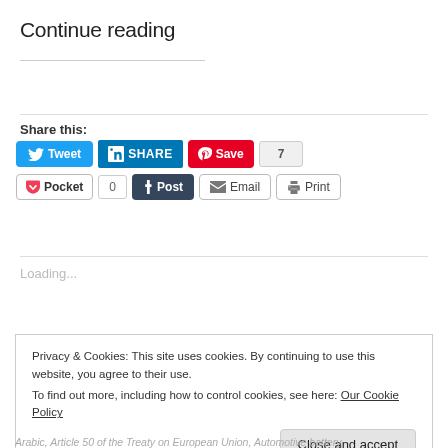Continue reading
Share this:
[Figure (screenshot): Social sharing buttons: Tweet, SHARE (LinkedIn), Save (Pinterest) with count 7, Pocket with count 0, Post (Tumblr), Email, Print]
Loading...
Privacy & Cookies: This site uses cookies. By continuing to use this website, you agree to their use.
To find out more, including how to control cookies, see here: Our Cookie Policy
Close and accept
Arabic, Article 50 of the Treaty on European Union, Automotive battery,